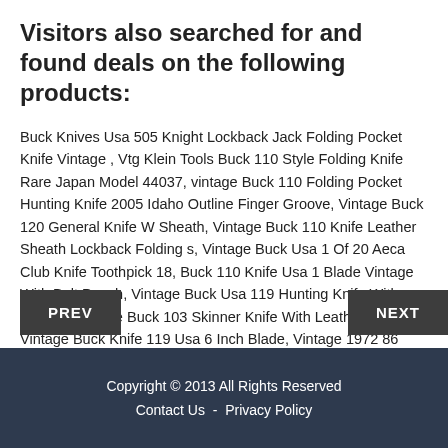Visitors also searched for and found deals on the following products:
Buck Knives Usa 505 Knight Lockback Jack Folding Pocket Knife Vintage , Vtg Klein Tools Buck 110 Style Folding Knife Rare Japan Model 44037, vintage Buck 110 Folding Pocket Hunting Knife 2005 Idaho Outline Finger Groove, Vintage Buck 120 General Knife W Sheath, Vintage Buck 110 Knife Leather Sheath Lockback Folding s, Vintage Buck Usa 1 Of 20 Aeca Club Knife Toothpick 18, Buck 110 Knife Usa 1 Blade Vintage With Belt Pouch, Vintage Buck Usa 119 Hunting Knife With Sheath, Vintage Buck 103 Skinner Knife With Leather Sheath, Vintage Buck Knife 119 Usa 6 Inch Blade, Vintage 1972 86 Buck 110 Folding Hunting
Copyright © 2013 All Rights Reserved
Contact Us  -  Privacy Policy